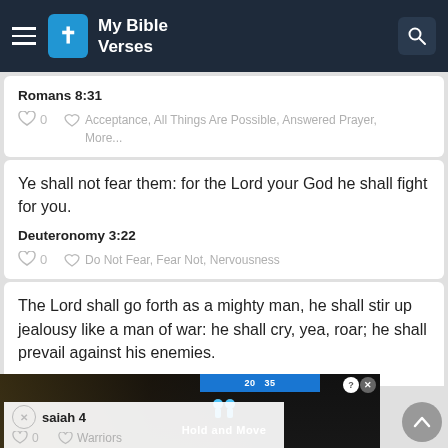My Bible Verses
Romans 8:31
Acceptance, All Things Are Possible, Answered Prayer, More...
Ye shall not fear them: for the Lord your God he shall fight for you.
Deuteronomy 3:22
Do Not Fear, Fear Not, Nervousness
The Lord shall go forth as a mighty man, he shall stir up jealousy like a man of war: he shall cry, yea, roar; he shall prevail against his enemies.
Isaiah 4
Warriors